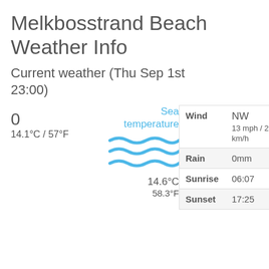Melkbosstrand Beach Weather Info
Current weather (Thu Sep 1st 23:00)
Sea temperature
14.6°C
58.3°F
0
14.1°C / 57°F
|  |  |
| --- | --- |
| Wind | NW
13 mph / 21 km/h |
| Rain | 0mm |
| Sunrise | 06:07 |
| Sunset | 17:25 |